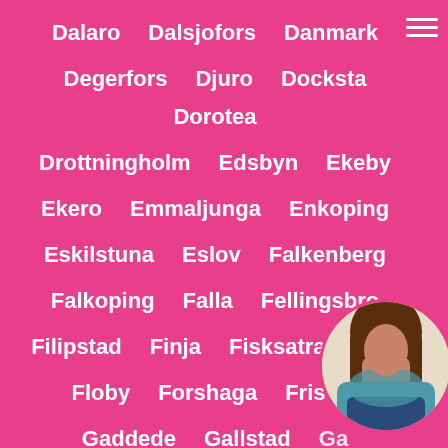Dalaro
Dalsjofors
Danmark
Degerfors
Djuro
Docksta
Dorotea
Drottningholm
Edsbyn
Ekeby
Ekero
Emmaljunga
Enkoping
Eskilstuna
Eslov
Falkenberg
Falkoping
Falla
Fellingsbro
Filipstad
Finja
Fisksatra
Flen
Floby
Forshaga
Fristad
Gaddede
Gallstad
Ga...
Gammelgarden
Garphyttan
Gislaved
Glimakra
Gnesta
Grisslehamn